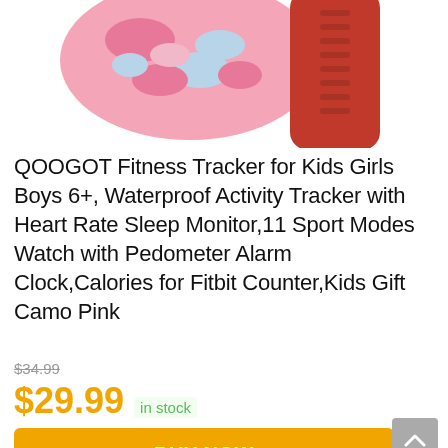[Figure (photo): Product photo showing two fitness tracker watch bands — one pink camo patterned band and one solid red band — partially cropped at the top of the image.]
QOOGOT Fitness Tracker for Kids Girls Boys 6+, Waterproof Activity Tracker with Heart Rate Sleep Monitor,11 Sport Modes Watch with Pedometer Alarm Clock,Calories for Fitbit Counter,Kids Gift Camo Pink
$34.99 (strikethrough) $29.99 in stock